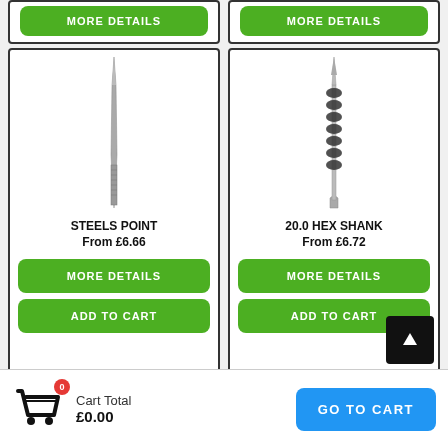[Figure (photo): Partial product cards at top of page showing green MORE DETAILS buttons]
[Figure (photo): Steels Point tool - thin long needle-like metal tool]
STEELS POINT
From £6.66
MORE DETAILS
ADD TO CART
[Figure (photo): 20.0 Hex Shank drill bit - spiral fluted drill bit with hex shank]
20.0 HEX SHANK
From £6.72
MORE DETAILS
ADD TO CART
Cart Total
£0.00
GO TO CART